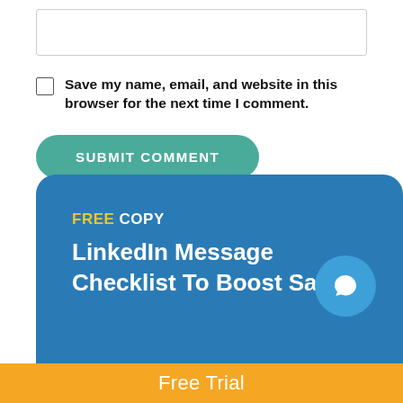[input box]
Save my name, email, and website in this browser for the next time I comment.
SUBMIT COMMENT
FREE COPY LinkedIn Message Checklist To Boost Sales
Free Trial